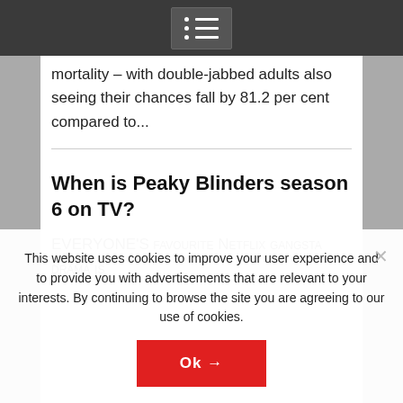mortality – with double-jabbed adults also seeing their chances fall by 81.2 per cent compared to...
When is Peaky Blinders season 6 on TV?
EVERYONE'S favourite Netflix gangsta drama is
This website uses cookies to improve your user experience and to provide you with advertisements that are relevant to your interests. By continuing to browse the site you are agreeing to our use of cookies.